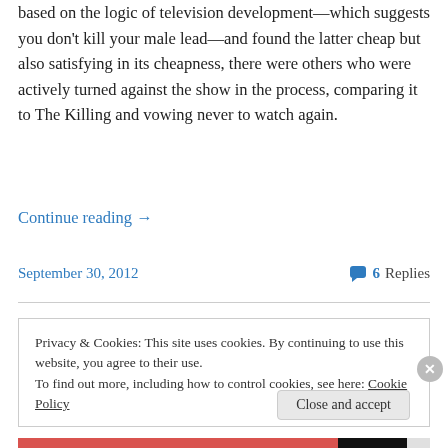based on the logic of television development—which suggests you don't kill your male lead—and found the latter cheap but also satisfying in its cheapness, there were others who were actively turned against the show in the process, comparing it to The Killing and vowing never to watch again.
Continue reading →
September 30, 2012
6 Replies
Privacy & Cookies: This site uses cookies. By continuing to use this website, you agree to their use. To find out more, including how to control cookies, see here: Cookie Policy
Close and accept